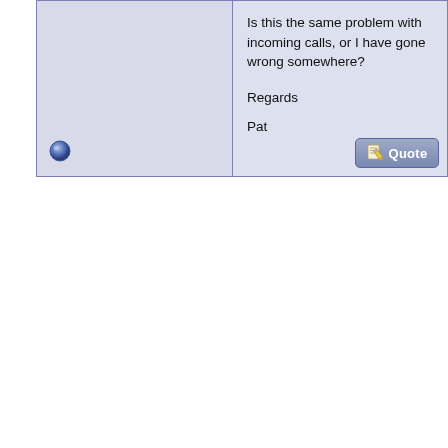Is this the same problem with incoming calls, or I have gone wrong somewhere?

Regards

Pat
[Figure (screenshot): Quote button with pencil/paper icon and text 'Quote']